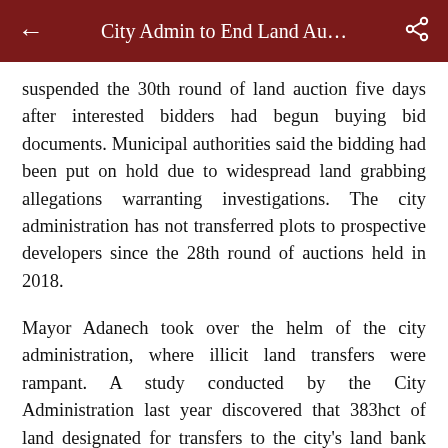City Admin to End Land Au…
suspended the 30th round of land auction five days after interested bidders had begun buying bid documents. Municipal authorities said the bidding had been put on hold due to widespread land grabbing allegations warranting investigations. The city administration has not transferred plots to prospective developers since the 28th round of auctions held in 2018.
Mayor Adanech took over the helm of the city administration, where illicit land transfers were rampant. A study conducted by the City Administration last year discovered that 383hct of land designated for transfers to the city's land bank were in individuals' hands. A few months ago, officials rescinded the title deeds of 671 plots deemed to be held unlawfully. The city administration has been postponing the land auctions until controversy involving farmers residing